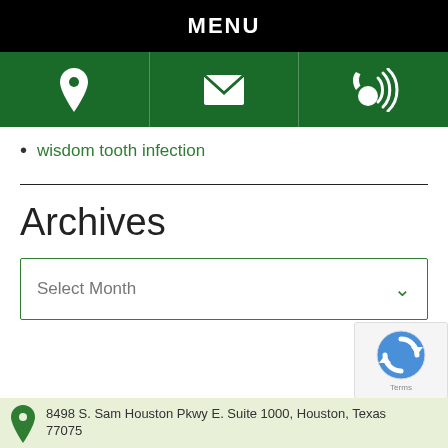MENU
[Figure (infographic): Green icon bar with location pin, envelope/email, and phone with signal icons]
wisdom tooth infection
Archives
Select Month
8498 S. Sam Houston Pkwy E. Suite 1000, Houston, Texas 77075